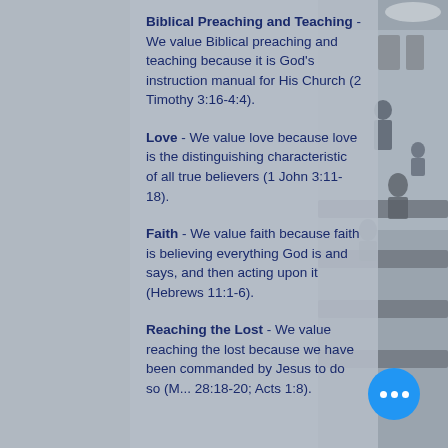[Figure (photo): Grayscale photo of a church interior with people sitting in pews, visible on the right side of the page]
Biblical Preaching and Teaching - We value Biblical preaching and teaching because it is God's instruction manual for His Church (2 Timothy 3:16-4:4).
Love - We value love because love is the distinguishing characteristic of all true believers (1 John 3:11-18).
Faith - We value faith because faith is believing everything God is and says, and then acting upon it (Hebrews 11:1-6).
Reaching the Lost - We value reaching the lost because we have been commanded by Jesus to do so (M... 28:18-20; Acts 1:8).